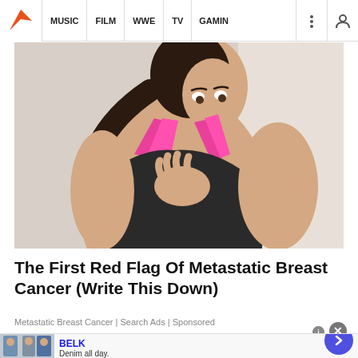MUSIC | FILM | WWE | TV | GAMING
[Figure (photo): Young woman in black and pink sports bra looking down and clutching her chest with one hand, suggesting chest pain or discomfort, against a light gray background]
The First Red Flag Of Metastatic Breast Cancer (Write This Down)
Metastatic Breast Cancer | Search Ads | Sponsored
[Figure (photo): Advertisement banner for BELK: Denim all day. www.belk.com, with thumbnail images of women in denim clothing and a blue circular arrow button]